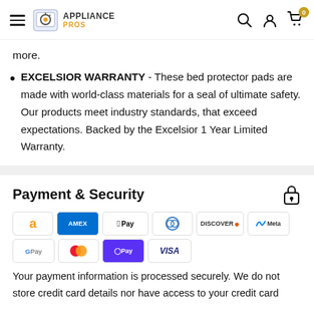Appliance Pros navigation header with hamburger menu, logo, search, account, and cart icons
more.
EXCELSIOR WARRANTY - These bed protector pads are made with world-class materials for a seal of ultimate safety. Our products meet industry standards, that exceed expectations. Backed by the Excelsior 1 Year Limited Warranty.
Payment & Security
[Figure (other): Payment method icons: Amazon, AMEX, Apple Pay, Diners Club, Discover, Meta Pay, Google Pay, Mastercard, Shop Pay, Visa]
Your payment information is processed securely. We do not store credit card details nor have access to your credit card